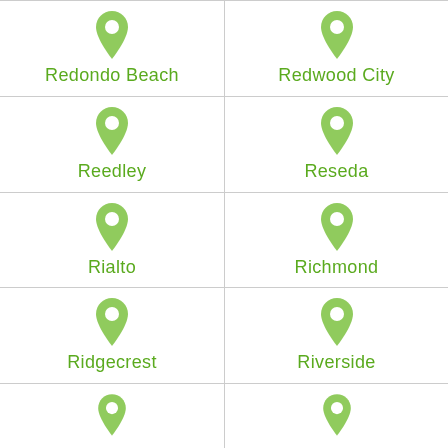Redondo Beach
Redwood City
Reedley
Reseda
Rialto
Richmond
Ridgecrest
Riverside
[Figure (illustration): Green map pin icon (partial, bottom row left)]
[Figure (illustration): Green map pin icon (partial, bottom row right)]